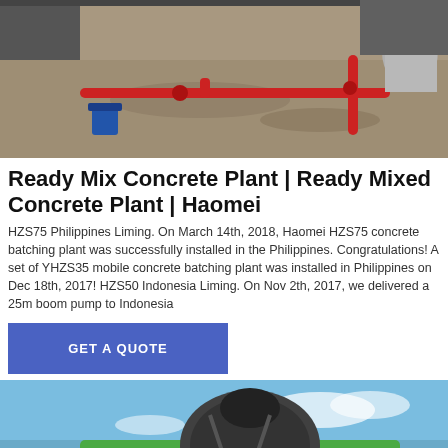[Figure (photo): Construction site with red pipes and gravel, a concrete drum in the background]
Ready Mix Concrete Plant | Ready Mixed Concrete Plant | Haomei
HZS75 Philippines Liming. On March 14th, 2018, Haomei HZS75 concrete batching plant was successfully installed in the Philippines. Congratulations! A set of YHZS35 mobile concrete batching plant was installed in Philippines on Dec 18th, 2017! HZS50 Indonesia Liming. On Nov 2th, 2017, we delivered a 25m boom pump to Indonesia
GET A QUOTE
[Figure (photo): Green concrete mixer truck against a blue sky]
Send Message
Inquiry Online